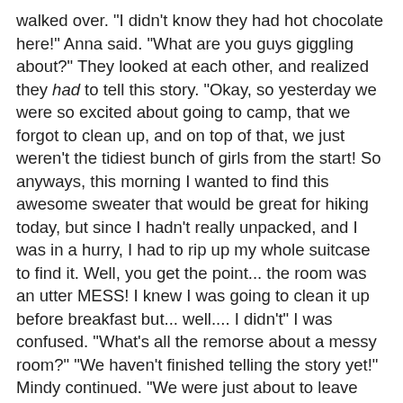walked over. "I didn't know they had hot chocolate here!" Anna said. "What are you guys giggling about?" They looked at each other, and realized they had to tell this story. "Okay, so yesterday we were so excited about going to camp, that we forgot to clean up, and on top of that, we just weren't the tidiest bunch of girls from the start! So anyways, this morning I wanted to find this awesome sweater that would be great for hiking today, but since I hadn't really unpacked, and I was in a hurry, I had to rip up my whole suitcase to find it. Well, you get the point... the room was an utter MESS! I knew I was going to clean it up before breakfast but... well.... I didn't" I was confused. "What's all the remorse about a messy room?" "We haven't finished telling the story yet!" Mindy continued. "We were just about to leave when all of the sudden, a rap sounded on the door! We opened the door, and it was the inspector lady, Marger Pittz! We were all so worried!!! We stepped back and looked at our cabin, and all we could do was brace ourselves. Marger puckered up her lips and took a big breath to begin her lecture! She was outraged, and she went on and on and on about how old we are, and our responsibilities." I was a little surprised to hear that this was what they had been giggling about, but I was